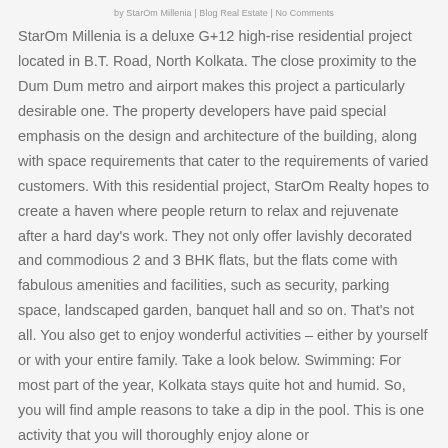by StarOm Millenia | Blog Real Estate | No Comments
StarOm Millenia is a deluxe G+12 high-rise residential project located in B.T. Road, North Kolkata. The close proximity to the Dum Dum metro and airport makes this project a particularly desirable one. The property developers have paid special emphasis on the design and architecture of the building, along with space requirements that cater to the requirements of varied customers. With this residential project, StarOm Realty hopes to create a haven where people return to relax and rejuvenate after a hard day's work. They not only offer lavishly decorated and commodious 2 and 3 BHK flats, but the flats come with fabulous amenities and facilities, such as security, parking space, landscaped garden, banquet hall and so on. That's not all. You also get to enjoy wonderful activities – either by yourself or with your entire family. Take a look below. Swimming: For most part of the year, Kolkata stays quite hot and humid. So, you will find ample reasons to take a dip in the pool. This is one activity that you will thoroughly enjoy alone or